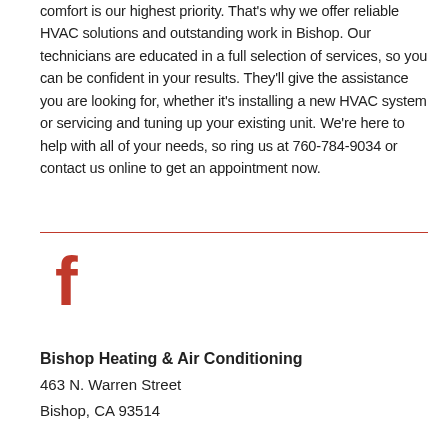comfort is our highest priority. That's why we offer reliable HVAC solutions and outstanding work in Bishop. Our technicians are educated in a full selection of services, so you can be confident in your results. They'll give the assistance you are looking for, whether it's installing a new HVAC system or servicing and tuning up your existing unit. We're here to help with all of your needs, so ring us at 760-784-9034 or contact us online to get an appointment now.
[Figure (logo): Facebook logo icon in red]
Bishop Heating & Air Conditioning
463 N. Warren Street
Bishop, CA 93514